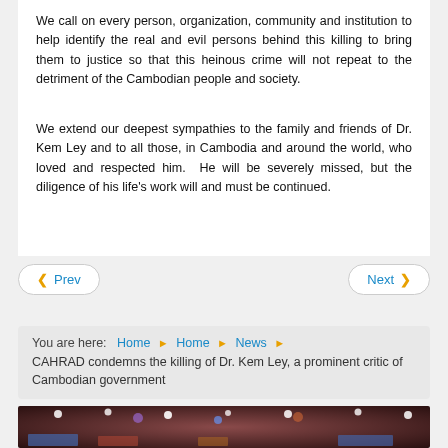We call on every person, organization, community and institution to help identify the real and evil persons behind this killing to bring them to justice so that this heinous crime will not repeat to the detriment of the Cambodian people and society.
We extend our deepest sympathies to the family and friends of Dr. Kem Ley and to all those, in Cambodia and around the world, who loved and respected him.  He will be severely missed, but the diligence of his life's work will and must be continued.
◀ Prev    Next ▶
You are here: Home ▶ Home ▶ News ▶
CAHRAD condemns the killing of Dr. Kem Ley, a prominent critic of Cambodian government
[Figure (photo): Interior event hall photo with ceiling lights and screens visible, dark ambiance]